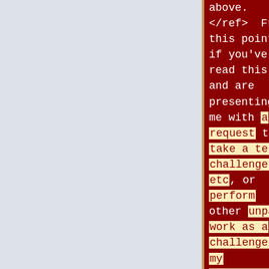above. </ref> From this point, if you've read this and are presenting me with a request to take a test, challenge, etc., or perform other unpaid work as a challenge to my competence, I'll assume that you are [[:en:troll (internet)|
above. </ref> From this point, if you've read this and are presenting me with some challenge to my competence, or other hoops, I'll assume that you are [[:en:troll (internet)| <font color=cyan>trolling</font>]]. </blockquote